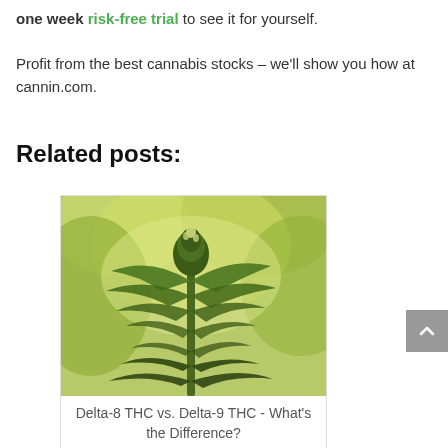one week risk-free trial to see it for yourself.
Profit from the best cannabis stocks – we'll show you how at cannin.com.
Related posts:
[Figure (photo): Close-up photo of a cannabis plant with green buds and leaves against a blurred green background]
Delta-8 THC vs. Delta-9 THC - What's the Difference?